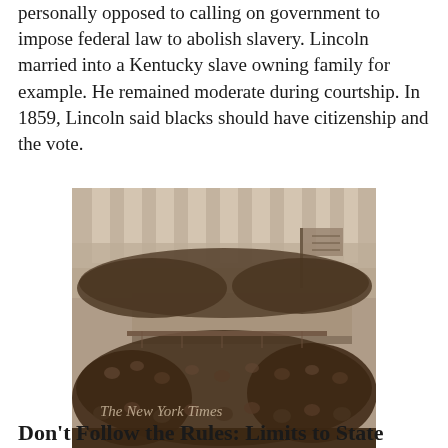personally opposed to calling on government to impose federal law to abolish slavery. Lincoln married into a Kentucky slave owning family for example. He remained moderate during courtship. In 1859, Lincoln said blacks should have citizenship and the vote.
[Figure (photo): Historical black and white photograph of a large crowd gathered at what appears to be a presidential inauguration or major public event at a grand columned building. The New York Times watermark is visible in the lower left.]
Don't Follow the Rules: Limits to State